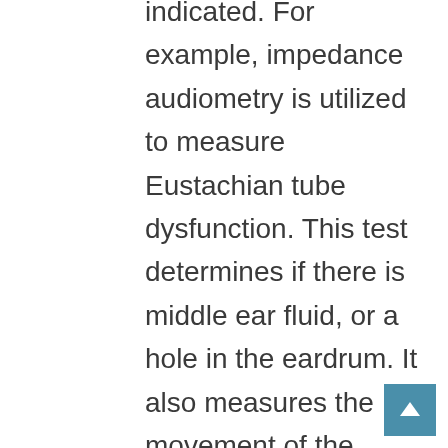indicated. For example, impedance audiometry is utilized to measure Eustachian tube dysfunction. This test determines if there is middle ear fluid, or a hole in the eardrum. It also measures the movement of the bones in the middle ear. The middle ear has a muscle reflex, and the absence of that reflex can indicate a problem with a hearing nerve.
These exams can help determine if the hearing loss is due to a cochlear change or a middle-ear problem. If it is due to a cochlear change, then